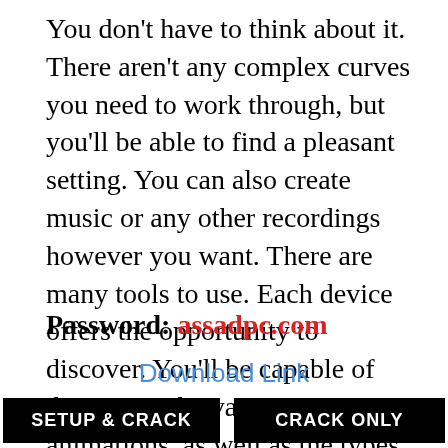You don't have to think about it. There aren't any complex curves you need to work through, but you'll be able to find a pleasant setting. You can also create music or any other recordings however you want. There are many tools to use. Each device offers the opportunity to discover. You'll be capable of discerning the various animations, as well as the types of transitions.
Password: assadpc.com
Download Link
SETUP & CRACK
CRACK ONLY